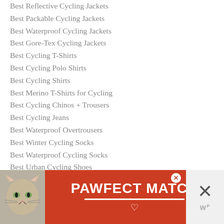Best Reflective Cycling Jackets
Best Packable Cycling Jackets
Best Waterproof Cycling Jackets
Best Gore-Tex Cycling Jackets
Best Cycling T-Shirts
Best Cycling Polo Shirts
Best Cycling Shirts
Best Merino T-Shirts for Cycling
Best Cycling Chinos + Trousers
Best Cycling Jeans
Best Waterproof Overtrousers
Best Winter Cycling Socks
Best Waterproof Cycling Socks
Best Urban Cycling Shoes
Best Clipless Cycling Shoes
Best Waterproof Cycling Trainers
Best Waterproof Overshoes
Be... (partially obscured)
Be... (partially obscured)
[Figure (infographic): Advertisement banner: orange-red background with cat photo on left, PAWFECT MATCH text in white, close button, and side panel with X button and W logo]